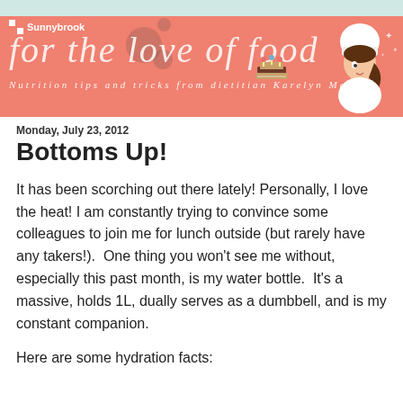[Figure (illustration): Sunnybrook 'For the love of Food' blog header banner in salmon/coral color with a cartoon chef woman holding a cake, decorative circles, and subtitle 'Nutrition tips and tricks from dietitian Karelyn Martens']
Monday, July 23, 2012
Bottoms Up!
It has been scorching out there lately! Personally, I love the heat! I am constantly trying to convince some colleagues to join me for lunch outside (but rarely have any takers!). One thing you won't see me without, especially this past month, is my water bottle. It's a massive, holds 1L, dually serves as a dumbbell, and is my constant companion.
Here are some hydration facts: